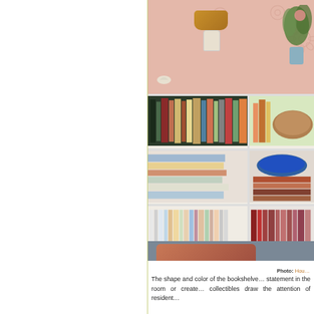[Figure (photo): A white bookshelf unit filled with books, magazines, and collectibles. On top sits a lamp with an orange shade on a white sculptural base, and a plant in a vase. The wall behind is pink with decorative floral embossing. Below the shelf is a gray sofa with a patterned cushion.]
Photo: Hou…
The shape and color of the bookshelve… statement in the room or create… collectibles draw the attention of resident…